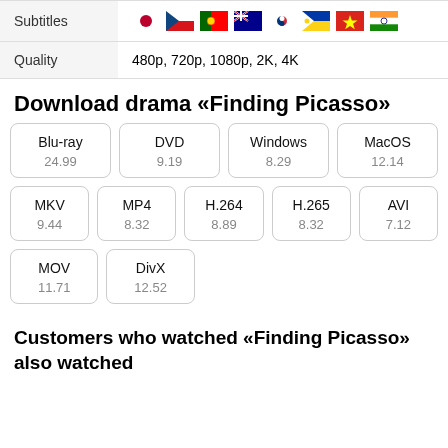|  |  |
| --- | --- |
| Subtitles | 🇯🇵 🇨🇿 🇵🇹 🇦🇺 🇰🇷 🇵🇭 🇻🇳 🇮🇳 |
| Quality | 480p, 720p, 1080p, 2K, 4K |
Download drama «Finding Picasso»
| Blu-ray
24.99 | DVD
9.19 | Windows
8.29 | MacOS
12.14 |
| MKV
9.44 | MP4
8.32 | H.264
8.89 | H.265
8.32 | AVI
7.12 |
| MOV
11.71 | DivX
12.52 |
Customers who watched «Finding Picasso» also watched